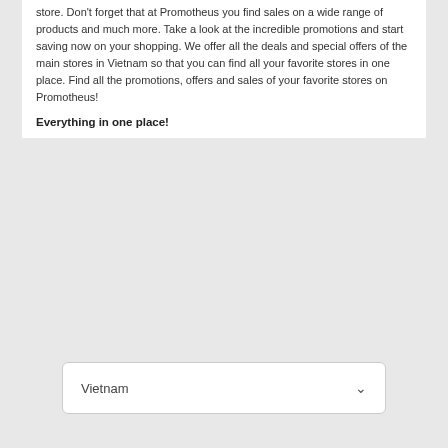store. Don't forget that at Promotheus you find sales on a wide range of products and much more. Take a look at the incredible promotions and start saving now on your shopping. We offer all the deals and special offers of the main stores in Vietnam so that you can find all your favorite stores in one place. Find all the promotions, offers and sales of your favorite stores on Promotheus!
Everything in one place!
Find current discounts and offers of your favorite products such as screwdriver set, SIM card, salad dressing, soda, stapler. Here at Promotheus we offer you everything in one place. Thanks to us you will always be up to date with incredible sales. Please visit us again frequently as we are constantly working on adding new weekly promotions, offers and sales and improving our service to get the best prices for you.
[Figure (other): Dropdown selector showing 'Vietnam' with a chevron arrow]